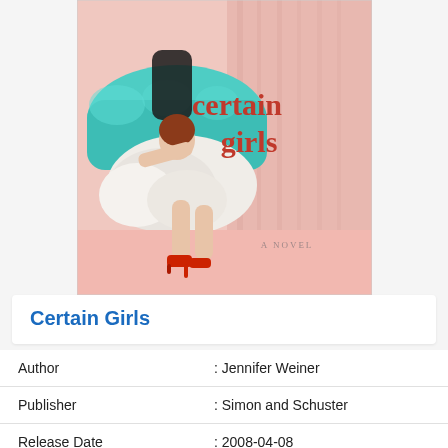[Figure (illustration): Book cover of 'Certain Girls' — A Novel by Jennifer Weiner. Shows a woman in a white fluffy dress with red heels seated on a teal sofa against a pink curtain background. The title 'certain girls' appears in red serif text, and 'A NOVEL' in small caps at the bottom.]
Certain Girls
| Author | : Jennifer Weiner |
| Publisher | : Simon and Schuster |
| Release Date | : 2008-04-08 |
| ISBN 13 | : 9780743204356 |